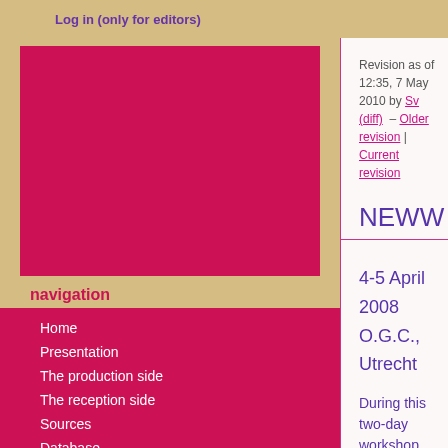Log in (only for editors)
[Figure (illustration): Dark pink/crimson rectangular image block in the left sidebar navigation area]
navigation
Home
Presentation
The production side
The reception side
Sources
Database
WomenWriters
Bibliography
Conferences and other activities
Portraits of Authors
Participants
Project publications
Project news
NEWWsletters
NEWW List
Revision as of 12:35, 7 May 2010 by Sv (diff)  – Older revision | Current revision
NEWW workshop "Goir
4-5 April 2008
O.G.C., Utrecht
During this two-day workshop, we h for our future collaborative project. European?", a concrete research p projects".
Participants